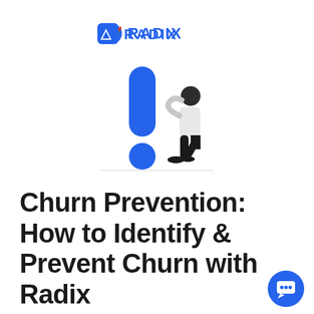[Figure (logo): Radix logo with rocket icon and RADIX text in blue]
[Figure (illustration): Blue exclamation mark with a person standing next to it looking surprised, on a white background]
Churn Prevention: How to Identify & Prevent Churn with Radix
[Figure (illustration): Blue circular chat bubble button in bottom right corner]